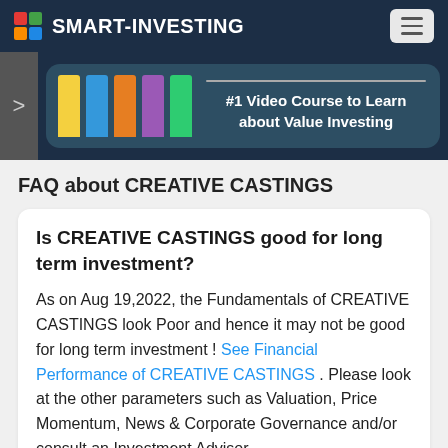SMART-INVESTING
[Figure (screenshot): Banner showing colorful vertical bars (yellow, blue, orange, purple, green) and text '#1 Video Course to Learn about Value Investing' on a dark teal background]
FAQ about CREATIVE CASTINGS
Is CREATIVE CASTINGS good for long term investment?
As on Aug 19,2022, the Fundamentals of CREATIVE CASTINGS look Poor and hence it may not be good for long term investment ! See Financial Performance of CREATIVE CASTINGS . Please look at the other parameters such as Valuation, Price Momentum, News & Corporate Governance and/or consult an Investment Advisor